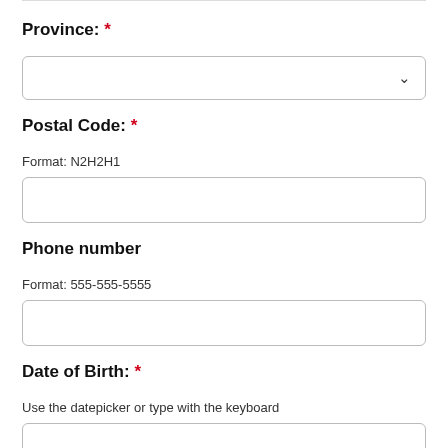Province: *
[Figure (screenshot): Dropdown input field for Province]
Postal Code: *
Format: N2H2H1
[Figure (screenshot): Text input field for Postal Code]
Phone number
Format: 555-555-5555
[Figure (screenshot): Text input field for Phone number]
Date of Birth: *
Use the datepicker or type with the keyboard
[Figure (screenshot): Date input field for Date of Birth]